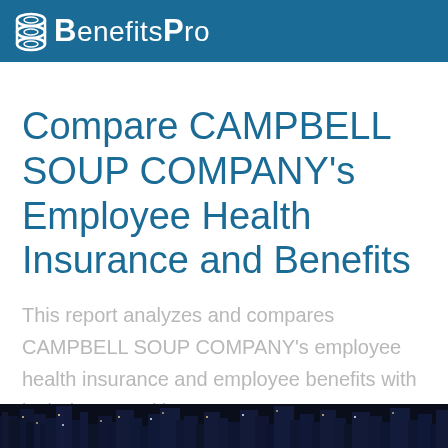BenefitsPro
Compare CAMPBELL SOUP COMPANY's Employee Health Insurance and Benefits
This report analyzes and compares CAMPBELL SOUP COMPANY's employee health insurance and employee benefits with its industry and in New Jersey State.
[Figure (photo): Nighttime city skyline photo strip at the bottom of the page]